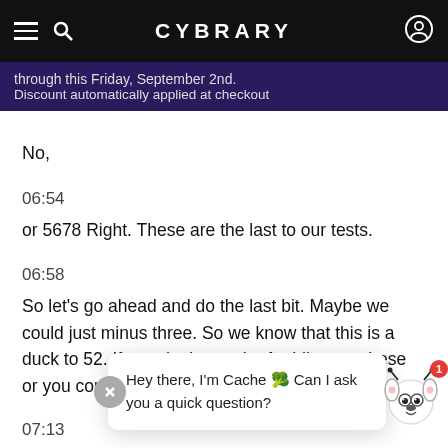CYBRARY
through this Friday, September 2nd. Discount automatically applied at checkout
No,
06:54
or 5678 Right. These are the last to our tests.
06:58
So let's go ahead and do the last bit. Maybe we could just minus three. So we know that this is a duck to 52. If you do the math of adding up, these or you could just minus three from that there.
07:13
Hey there, I'm Cache 🐾 Can I ask you a quick question?